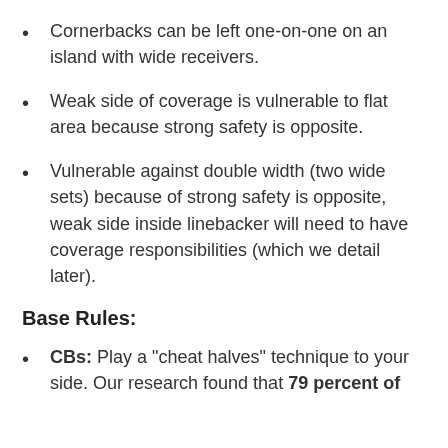Cornerbacks can be left one-on-one on an island with wide receivers.
Weak side of coverage is vulnerable to flat area because strong safety is opposite.
Vulnerable against double width (two wide sets) because of strong safety is opposite, weak side inside linebacker will need to have coverage responsibilities (which we detail later).
Base Rules:
CBs: Play a "cheat halves" technique to your side. Our research found that 79 percent of ...